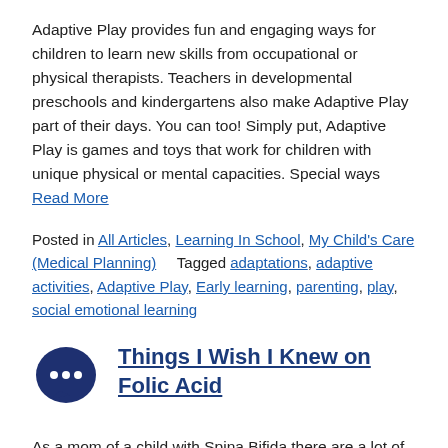Adaptive Play provides fun and engaging ways for children to learn new skills from occupational or physical therapists. Teachers in developmental preschools and kindergartens also make Adaptive Play part of their days. You can too! Simply put, Adaptive Play is games and toys that work for children with unique physical or mental capacities. Special ways Read More
Posted in All Articles, Learning In School, My Child's Care (Medical Planning)   Tagged adaptations, adaptive activities, Adaptive Play, Early learning, parenting, play, social emotional learning
Things I Wish I Knew on Folic Acid
As a mom of a child with Spina Bifida there are a lot of things I wish I knew.  Like I wish I knew I was going to